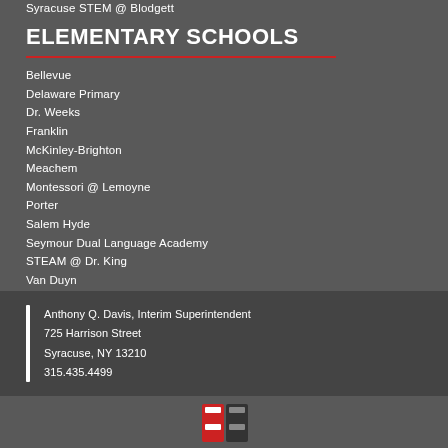Syracuse STEM @ Blodgett
ELEMENTARY SCHOOLS
Bellevue
Delaware Primary
Dr. Weeks
Franklin
McKinley-Brighton
Meachem
Montessori @ Lemoyne
Porter
Salem Hyde
Seymour Dual Language Academy
STEAM @ Dr. King
Van Duyn
Webster
Anthony Q. Davis, Interim Superintendent
725 Harrison Street
Syracuse, NY 13210
315.435.4499
[Figure (logo): School district logo partially visible at bottom center]